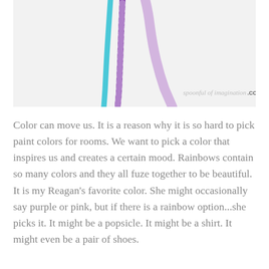[Figure (photo): Photo of colorful ribbons (cyan, purple striped, and lavender) on a light gray/white background, with the watermark 'spoonful of imagination.COM' in the lower right corner.]
Color can move us. It is a reason why it is so hard to pick paint colors for rooms. We want to pick a color that inspires us and creates a certain mood. Rainbows contain so many colors and they all fuze together to be beautiful. It is my Reagan's favorite color. She might occasionally say purple or pink, but if there is a rainbow option...she picks it. It might be a popsicle. It might be a shirt. It might even be a pair of shoes.